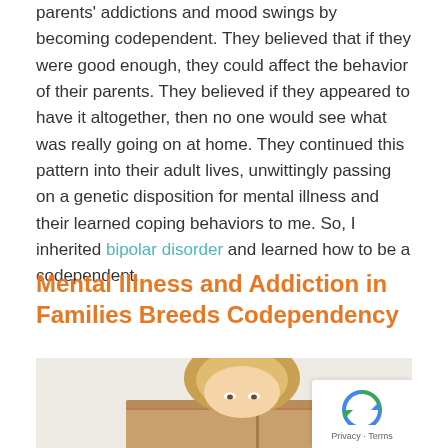parents' addictions and mood swings by becoming codependent. They believed that if they were good enough, they could affect the behavior of their parents. They believed if they appeared to have it altogether, then no one would see what was really going on at home. They continued this pattern into their adult lives, unwittingly passing on a genetic disposition for mental illness and their learned coping behaviors to me. So, I inherited bipolar disorder and learned how to be a codependent.
Mental Illness and Addiction in Families Breeds Codependency
[Figure (photo): A woman hiding her face behind a cardboard box, peeking over the top with just her eyes and forehead visible. Background is light grey/off-white.]